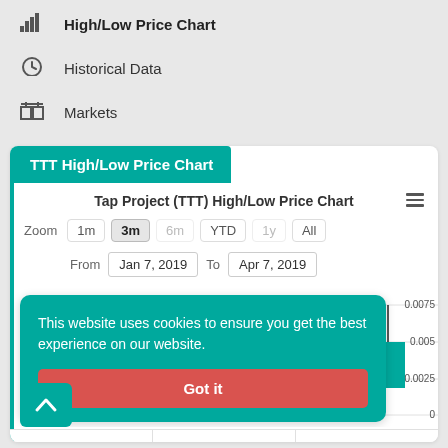High/Low Price Chart
Historical Data
Markets
TTT High/Low Price Chart
Tap Project (TTT) High/Low Price Chart
Zoom  1m  3m  6m  YTD  1y  All
From  Jan 7, 2019  To  Apr 7, 2019
This website uses cookies to ensure you get the best experience on our website.
Got it
[Figure (bar-chart): High/Low price candlestick chart showing TTT price with y-axis values 0.0075, 0.005, 0.0025, 0]